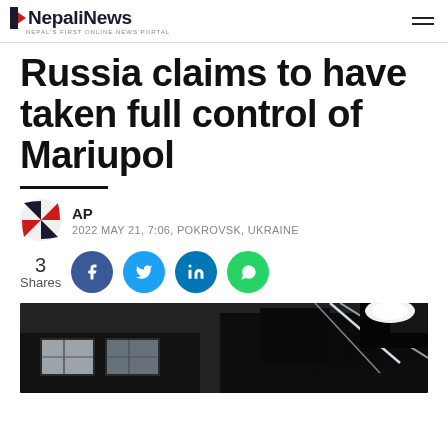NepaliNews — NEPAL'S FIRST ONLINE NEWS PORTAL
Russia claims to have taken full control of Mariupol
AP — 2022 MAY 21, 7:06, POKROVSK, UKRAINE
3 Shares
[Figure (photo): Dark nighttime photo of a building interior showing bright light streaming through windows, black and white/low light scene]